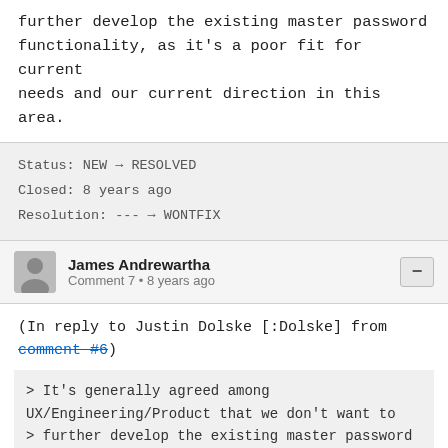further develop the existing master password functionality, as it's a poor fit for current needs and our current direction in this area.
Status: NEW → RESOLVED
Closed: 8 years ago
Resolution: --- → WONTFIX
James Andrewartha
Comment 7 • 8 years ago
(In reply to Justin Dolske [:Dolske] from comment #6)
> It's generally agreed among UX/Engineering/Product that we don't want to
> further develop the existing master password functionality, as it's a poor
> fit for current needs and our current direction in this area.
So what are the master password directives?